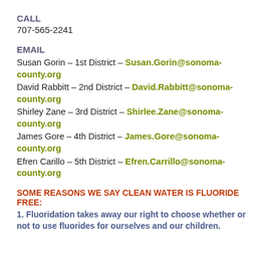CALL
707-565-2241
EMAIL
Susan Gorin – 1st District – Susan.Gorin@sonoma-county.org
David Rabbitt – 2nd District – David.Rabbitt@sonoma-county.org
Shirley Zane – 3rd District – Shirlee.Zane@sonoma-county.org
James Gore – 4th District – James.Gore@sonoma-county.org
Efren Carillo – 5th District – Efren.Carrillo@sonoma-county.org
SOME REASONS WE SAY CLEAN WATER IS FLUORIDE FREE:
1. Fluoridation takes away our right to choose whether or not to use fluorides for ourselves and our children.